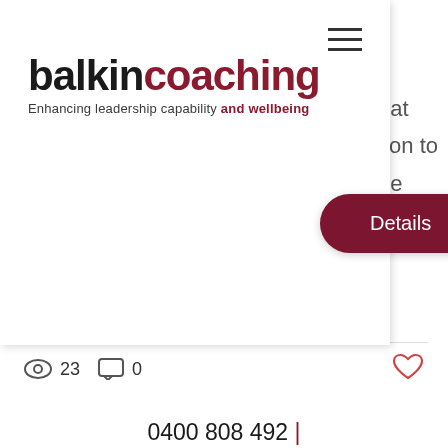[Figure (logo): Balkin Coaching logo with tagline 'Enhancing leadership capability and wellbeing']
[Figure (other): Navigation hamburger menu icon (three horizontal lines)]
[Figure (other): Details button (dark red rounded rectangle with white text)]
hat tion to e
23   0
0400 808 492 | tamar@balkincoaching.com.au | contact us
[Figure (other): Twitter social media icon (blue square with white bird)]
[Figure (other): YouTube social media icon (red square with white play button)]